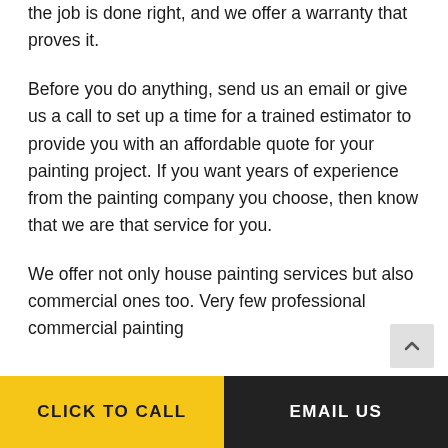the job is done right, and we offer a warranty that proves it.
Before you do anything, send us an email or give us a call to set up a time for a trained estimator to provide you with an affordable quote for your painting project. If you want years of experience from the painting company you choose, then know that we are that service for you.
We offer not only house painting services but also commercial ones too. Very few professional commercial painting
CLICK TO CALL | EMAIL US